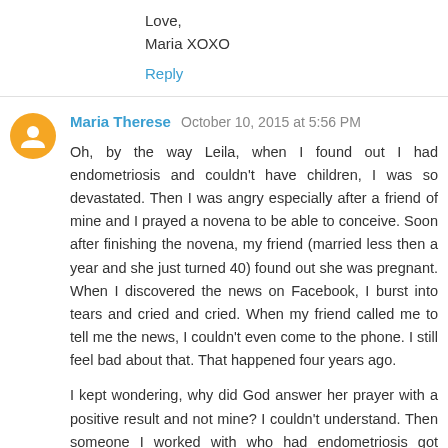Love,
Maria XOXO
Reply
Maria Therese  October 10, 2015 at 5:56 PM
Oh, by the way Leila, when I found out I had endometriosis and couldn't have children, I was so devastated. Then I was angry especially after a friend of mine and I prayed a novena to be able to conceive. Soon after finishing the novena, my friend (married less then a year and she just turned 40) found out she was pregnant. When I discovered the news on Facebook, I burst into tears and cried and cried. When my friend called me to tell me the news, I couldn't even come to the phone. I still feel bad about that. That happened four years ago.
I kept wondering, why did God answer her prayer with a positive result and not mine? I couldn't understand. Then someone I worked with who had endometriosis got pregnant, but ended up having an abortion (I tried to intervene and offer to adopt the baby. This is the third time...